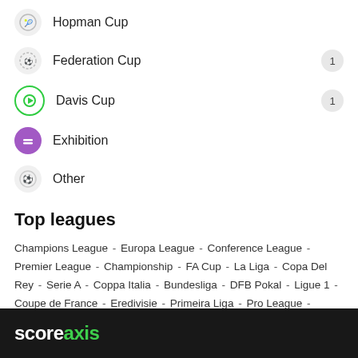Hopman Cup
Federation Cup  1
Davis Cup  1
Exhibition
Other
Top leagues
Champions League - Europa League - Conference League - Premier League - Championship - FA Cup - La Liga - Copa Del Rey - Serie A - Coppa Italia - Bundesliga - DFB Pokal - Ligue 1 - Coupe de France - Eredivisie - Primeira Liga - Pro League - Super League - Liga MX - Premiership - Super Lig - AFC Champions League - Copa Libertadores - Major League Soccer
ADVERTISEMENT
scoreaxis